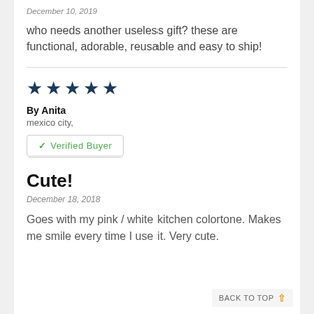December 10, 2019
who needs another useless gift? these are functional, adorable, reusable and easy to ship!
★★★★★
By Anita
mexico city,
✓ Verified Buyer
Cute!
December 18, 2018
Goes with my pink / white kitchen colortone. Makes me smile every time I use it. Very cute.
BACK TO TOP